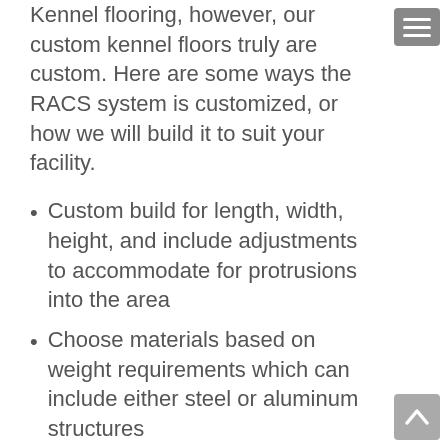Kennel flooring, however, our custom kennel floors truly are custom. Here are some ways the RACS system is customized, or how we will build it to suit your facility.
Custom build for length, width, height, and include adjustments to accommodate for protrusions into the area
Choose materials based on weight requirements which can include either steel or aluminum structures
We can customize surface structures which include options for coated expanded metal or laser punched perforated steel
Custom build to include legs, supports and wall mounts as needed